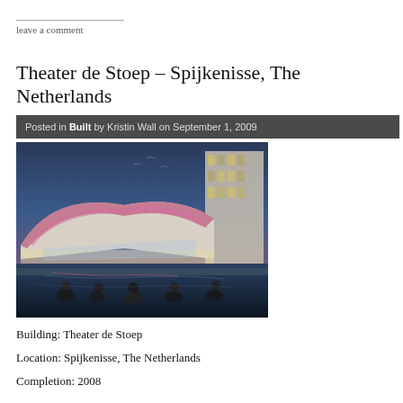leave a comment
Theater de Stoep – Spijkenisse, The Netherlands
Posted in Built by Kristin Wall on September 1, 2009
[Figure (photo): Architectural rendering of Theater de Stoep at dusk, showing a futuristic curved building with pink/purple lighting reflected in water, with people sitting in the foreground]
Building: Theater de Stoep
Location: Spijkenisse, The Netherlands
Completion: 2008